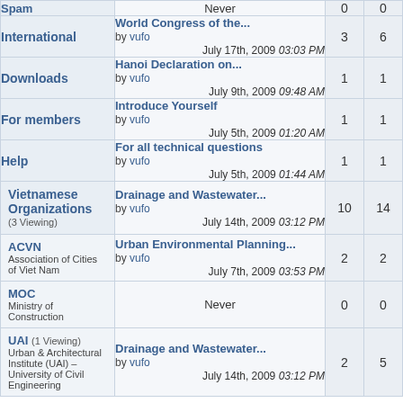| Forum | Last Post | Threads | Posts |
| --- | --- | --- | --- |
| Spam | Never | 0 | 0 |
| International | World Congress of the...
by vufo
July 17th, 2009 03:03 PM | 3 | 6 |
| Downloads | Hanoi Declaration on...
by vufo
July 9th, 2009 09:48 AM | 1 | 1 |
| For members | Introduce Yourself
by vufo
July 5th, 2009 01:20 AM | 1 | 1 |
| Help | For all technical questions
by vufo
July 5th, 2009 01:44 AM | 1 | 1 |
| Vietnamese Organizations (3 Viewing) | Drainage and Wastewater...
by vufo
July 14th, 2009 03:12 PM | 10 | 14 |
| ACVN Association of Cities of Viet Nam | Urban Environmental Planning...
by vufo
July 7th, 2009 03:53 PM | 2 | 2 |
| MOC Ministry of Construction | Never | 0 | 0 |
| UAI (1 Viewing) Urban & Architectural Institute (UAI) – University of Civil Engineering | Drainage and Wastewater...
by vufo
July 14th, 2009 03:12 PM | 2 | 5 |